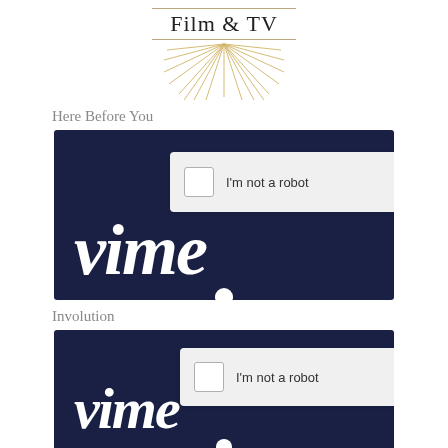Film & TV
[Figure (illustration): Decorative sunburst/rays illustration in gold below the Film & TV header]
Here Before You
[Figure (screenshot): Vimeo video thumbnail with dark navy background showing reCAPTCHA 'I'm not a robot' checkbox overlay and partial Vimeo logo text at bottom]
Involution
[Figure (screenshot): Vimeo video thumbnail with dark navy background showing reCAPTCHA 'I'm not a robot' checkbox overlay and partial Vimeo logo text at bottom]